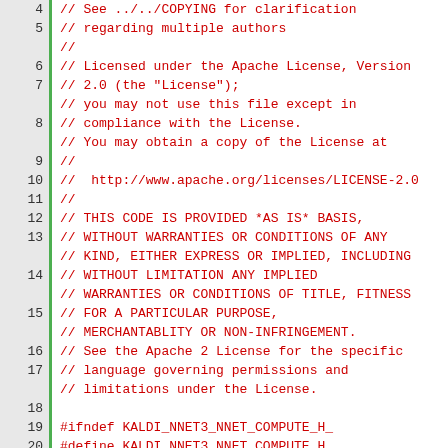[Figure (screenshot): Source code file viewer showing lines 4-30 of a C++ header file with line numbers on the left, green vertical separator, and code in red/green monospace font on white background. The code contains Apache License comments and include directives for Kaldi nnet3 library.]